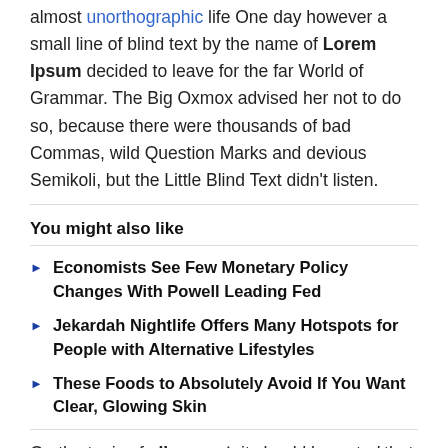almost unorthographic life One day however a small line of blind text by the name of Lorem Ipsum decided to leave for the far World of Grammar. The Big Oxmox advised her not to do so, because there were thousands of bad Commas, wild Question Marks and devious Semikoli, but the Little Blind Text didn't listen.
You might also like
Economists See Few Monetary Policy Changes With Powell Leading Fed
Jekardah Nightlife Offers Many Hotspots for People with Alternative Lifestyles
These Foods to Absolutely Avoid If You Want Clear, Glowing Skin
On the topic of alignment, it should be noted that